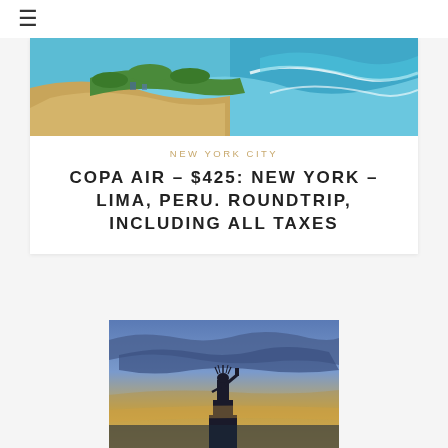≡
[Figure (photo): Aerial view of a coastline with sandy beach, ocean waves (turquoise water), and green vegetation along the shore]
NEW YORK CITY
COPA AIR – $425: NEW YORK – LIMA, PERU. ROUNDTRIP, INCLUDING ALL TAXES
[Figure (photo): Silhouette of the Statue of Liberty at sunset/dusk with dramatic cloudy sky in blue and golden tones]